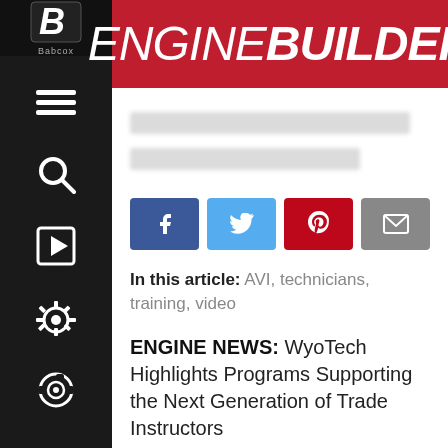ENGINE BUILDER
[blurred URL text]
[blurred secondary text]
[Figure (infographic): Social share buttons: Facebook, Twitter, Pinterest, Email]
In this article: AVI, technicians, training, video
ENGINE NEWS: WyoTech Highlights Programs Supporting the Next Generation of Trade Instructors